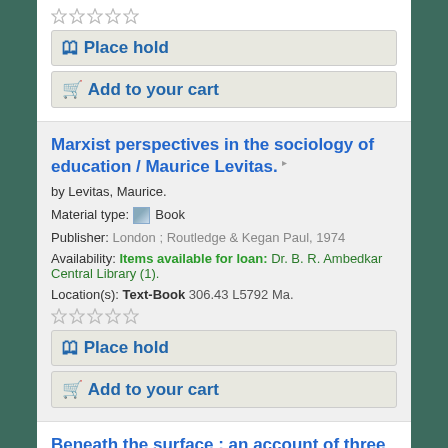[Figure (other): Five star rating icons (empty/outline stars)]
Place hold
Add to your cart
Marxist perspectives in the sociology of education / Maurice Levitas.
by Levitas, Maurice.
Material type: Book
Publisher: London ; Routledge & Kegan Paul, 1974
Availability: Items available for loan: Dr. B. R. Ambedkar Central Library (1).
Location(s): Text-Book 306.43 L5792 Ma.
[Figure (other): Five star rating icons (empty/outline stars)]
Place hold
Add to your cart
Beneath the surface : an account of three styles of sociological research / Colin Fletcher.
by Fletcher, Colin.